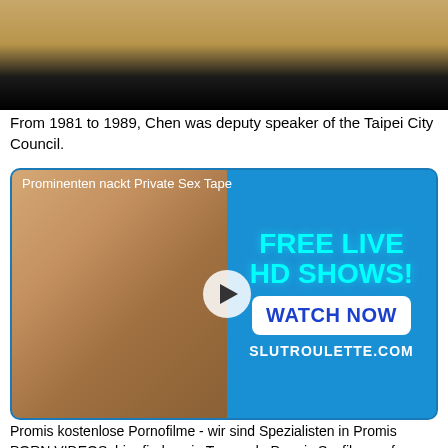[Figure (photo): Top portion of an image with warm golden/brown tones fading to black at the bottom]
From 1981 to 1989, Chen was deputy speaker of the Taipei City Council.
[Figure (screenshot): Advertisement banner: 'Prominenten nackt Private Sex Tape' with FREE LIVE HD SHOWS! WATCH NOW SLUTROULETTE.COM]
Promis kostenlose Pornofilme - wir sind Spezialisten in Promis PORN VIDEOS, hier finden sie Tausende Promis Sexfilme auf mistervi.